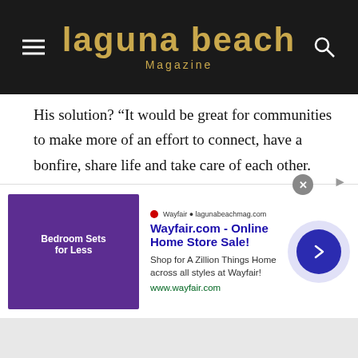Laguna Beach Magazine
His solution? “It would be great for communities to make more of an effort to connect, have a bonfire, share life and take care of each other. Everyone here lives behind gates and in the isolation of big giant homes. It’s hard to create the love.”
Sadeghi believes that building a viable and abundant life has become impossible for the next generation due to a lack of affordability. “The old guard has a grip on creativity and responsible growth,” he says.
[Figure (screenshot): Advertisement for Wayfair.com - Online Home Store Sale with purple bedroom image, text and arrow button]